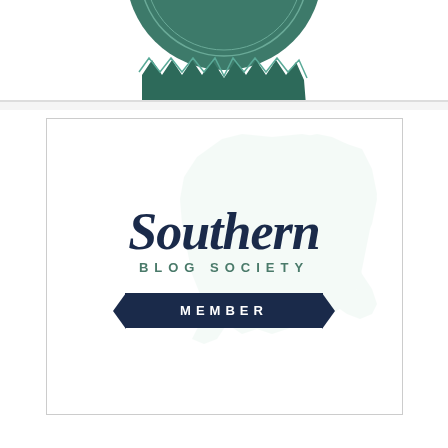[Figure (logo): Partial view of a circular badge/seal with dark teal/green color, showing bottom portion with zigzag/notched edges]
[Figure (logo): Southern Blog Society Member badge. White rectangular card with light teal map watermark of the Southern US in background. Large dark navy italic script text 'SOUTHERN', below it spaced green text 'BLOG SOCIETY', and a dark navy ribbon banner with white text 'MEMBER'.]